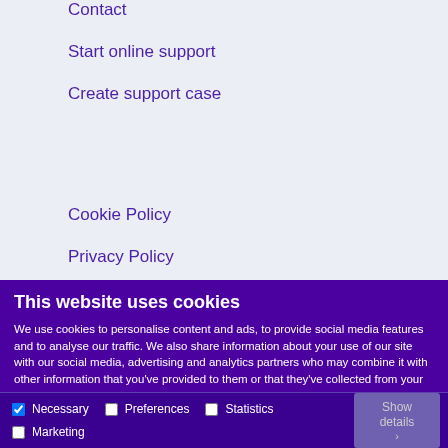Contact
Start online support
Create support case
Cookie Policy
Privacy Policy
This website uses cookies
We use cookies to personalise content and ads, to provide social media features and to analyse our traffic. We also share information about your use of our site with our social media, advertising and analytics partners who may combine it with other information that you've provided to them or that they've collected from your use of their services.
Allow selection  Allow all
Necessary  Preferences  Statistics  Marketing  Show details